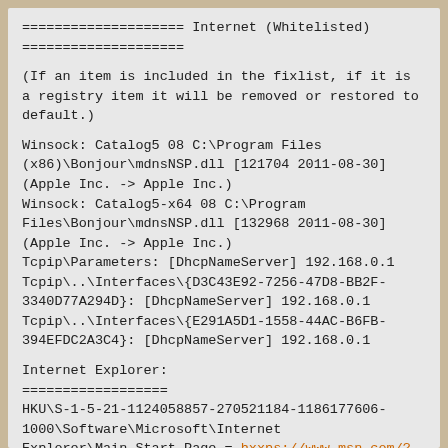==================== Internet (Whitelisted)
====================
(If an item is included in the fixlist, if it is a registry item it will be removed or restored to default.)
Winsock: Catalog5 08 C:\Program Files (x86)\Bonjour\mdnsNSP.dll [121704 2011-08-30] (Apple Inc. -> Apple Inc.)
Winsock: Catalog5-x64 08 C:\Program Files\Bonjour\mdnsNSP.dll [132968 2011-08-30] (Apple Inc. -> Apple Inc.)
Tcpip\Parameters: [DhcpNameServer] 192.168.0.1
Tcpip\..\Interfaces\{D3C43E92-7256-47D8-BB2F-3340D77A294D}: [DhcpNameServer] 192.168.0.1
Tcpip\..\Interfaces\{E291A5D1-1558-44AC-B6FB-394EFDC2A3C4}: [DhcpNameServer] 192.168.0.1
Internet Explorer:
==================
HKU\S-1-5-21-1124058857-270521184-1186177606-1000\Software\Microsoft\Internet Explorer\Main,Start Page = hxxps://www.msn.com/?OCID=IE11FREDHP&PC=UF01
URLSearchHook: HKU\S-1-5-21-1124058857-270521184-1186177606-1000 - Yahoo! Toolbar - {EF99BD32-C1FB-11D2-